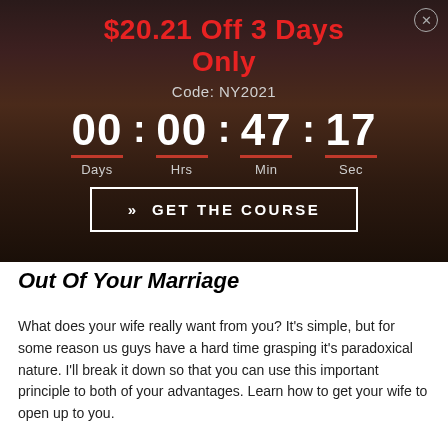$20.21 Off 3 Days Only
Code: NY2021
[Figure (other): Countdown timer showing 00 Days : 00 Hrs : 47 Min : 17 Sec]
» GET THE COURSE
Out Of Your Marriage
What does your wife really want from you? It's simple, but for some reason us guys have a hard time grasping it's paradoxical nature. I'll break it down so that you can use this important principle to both of your advantages. Learn how to get your wife to open up to you.